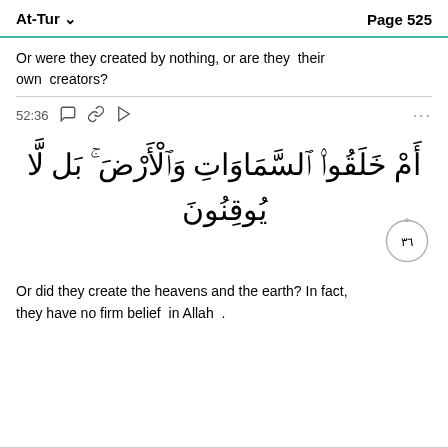At-Tur   Page 525
Or were they created by nothing, or are they their own creators?
52:36
[Figure (other): Arabic Quranic verse: أَمْ خَلَقُوا السَّمَاوَاتِ وَالْأَرْضَ بَل لَّا يُوقِنُونَ with verse number 36 in decorative circle]
Or did they create the heavens and the earth? In fact, they have no firm belief in Allah .